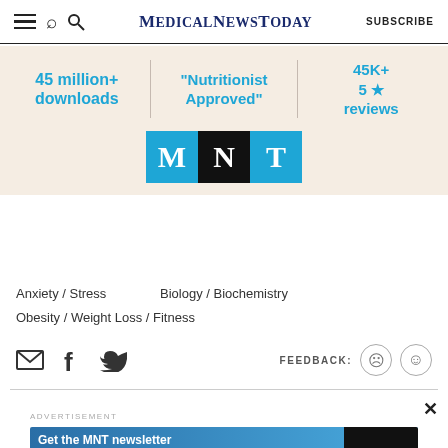MedicalNewsToday  SUBSCRIBE
[Figure (infographic): App advertisement banner with stats: 45 million+ downloads, 'Nutritionist Approved', 45K+ 5 star reviews, and MNT logo tiles]
Anxiety / Stress
Biology / Biochemistry
Obesity / Weight Loss / Fitness
[Figure (infographic): Social share icons (email, Facebook, Twitter) and feedback buttons (sad face, happy face)]
[Figure (infographic): Bottom advertisement: Get the MNT newsletter - Subscribe to receive our top news articles - SUBSCRIBE button]